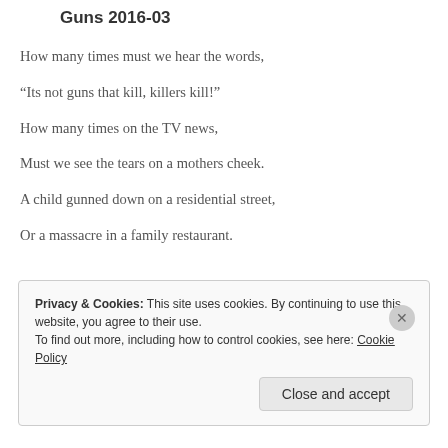Guns 2016-03
How many times must we hear the words,
“Its not guns that kill, killers kill!”
How many times on the TV news,
Must we see the tears on a mothers cheek.
A child gunned down on a residential street,
Or a massacre in a family restaurant.
Privacy & Cookies: This site uses cookies. By continuing to use this website, you agree to their use.
To find out more, including how to control cookies, see here: Cookie Policy
Close and accept